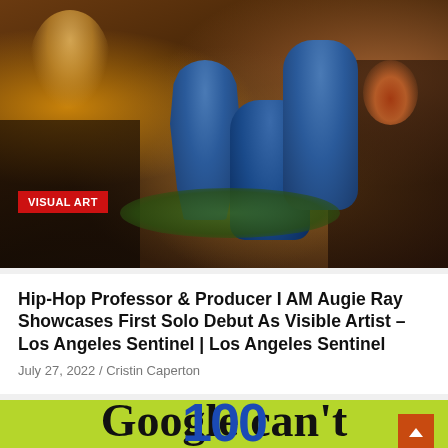[Figure (photo): Indoor photo of a man (I AM Augie Ray) appearing three times in different poses in a vintage-styled room, wearing blue denim jacket and hat. Warm lighting with a lamp, plants, and green rug visible. Red 'VISUAL ART' badge overlaid at lower left.]
Hip-Hop Professor & Producer I AM Augie Ray Showcases First Solo Debut As Visible Artist – Los Angeles Sentinel | Los Angeles Sentinel
July 27, 2022 / Cristin Caperton
[Figure (screenshot): Partial view of a green-background card with large blue partial text at top (looks like '100' or similar) and large black serif text reading 'Google can't' at the bottom.]